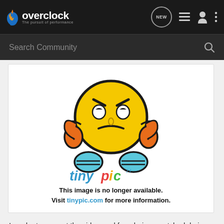Overclock - The pursuit of performance
[Figure (screenshot): Overclock.net website header navigation bar with logo, NEW badge, list icon, user icon, and more options icon]
[Figure (screenshot): Search Community bar with magnifying glass icon]
[Figure (illustration): Tinypic.com placeholder image showing an angry emoji character and tinypic logo with text: This image is no longer available. Visit tinypic.com for more information.]
In order to prevent the side panel from being scratched during